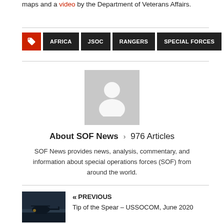maps and a video by the Department of Veterans Affairs.
AFRICA
JSOC
RANGERS
SPECIAL FORCES
[Figure (photo): Default user avatar placeholder image with grey background and silhouette of a person]
About SOF News > 976 Articles
SOF News provides news, analysis, commentary, and information about special operations forces (SOF) from around the world.
[Figure (photo): Thumbnail photo of a helicopter at dusk/night scene]
« PREVIOUS
Tip of the Spear – USSOCOM, June 2020